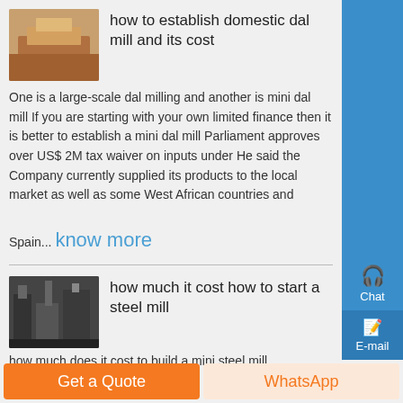[Figure (photo): Thumbnail image of a dal mill or related machinery, brownish/orange tones]
how to establish domestic dal mill and its cost
One is a large-scale dal milling and another is mini dal mill If you are starting with your own limited finance then it is better to establish a mini dal mill Parliament approves over US$ 2M tax waiver on inputs under He said the Company currently supplied its products to the local market as well as some West African countries and
Spain... know more
[Figure (photo): Thumbnail image of a steel mill or industrial equipment, dark tones]
how much it cost how to start a steel mill
how much does it cost to build a mini steel mill